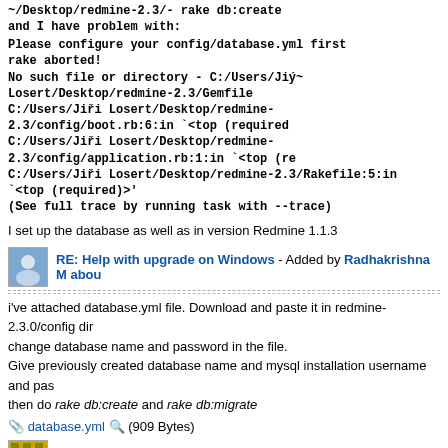~/Desktop/redmine-2.3/- rake db:create
and I have problem with:
Please configure your config/database.yml first
rake aborted!
No such file or directory - C:/Users/Jiý~ Losert/Desktop/redmine-2.3/Gemfile
C:/Users/Jiři Losert/Desktop/redmine-2.3/config/boot.rb:6:in `<top (required
C:/Users/Jiři Losert/Desktop/redmine-2.3/config/application.rb:1:in `<top (re
C:/Users/Jiři Losert/Desktop/redmine-2.3/Rakefile:5:in `<top (required)>'
(See full trace by running task with --trace)
I set up the database as well as in version Redmine 1.1.3
RE: Help with upgrade on Windows - Added by Radhakrishna M abou
i've attached database.yml file. Download and paste it in redmine-2.3.0/config dir
change database name and password in the file.
Give previously created database name and mysql installation username and pas
then do rake db:create and rake db:migrate
database.yml (909 Bytes)
RE: Help with upgrade on Windows - Added by Jiří Losert about 9 yea
still the same error. I've attached my database.yml file
database.yml (904 Bytes)
RE: Help with upgrade on Windows - Added by Radhakrishna M abou
paste the error as it is(with command also)
RE: Help with upgrade on Windows - Added by Jiří Losert about 9 yea